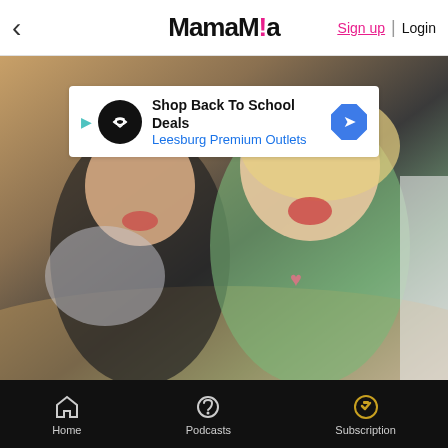< MamaMia  Sign up | Login
[Figure (photo): Two women laughing together on a couch — an elderly woman in a black jacket and a younger blonde woman in a green tank top with a heart design. A third person partially visible on the right edge in a white shirt. An advertisement banner overlay reads 'Shop Back To School Deals / Leesburg Premium Outlets'.]
Shop Back To School Deals
Leesburg Premium Outlets
Share
Leave a comment
Home  Podcasts  Subscription